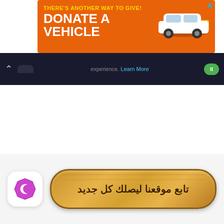[Figure (screenshot): Orange advertisement banner reading 'THERE'S ANOTHER WAY TO GIVE! DONATE A VEHICLE GIVE TODAY' with a white car image and blue X close button]
[Figure (screenshot): Dark browser navigation bar with back chevron, tab, text 'experience. Learn More' link in blue, and a green button]
[Figure (screenshot): White content area (blank page body)]
[Figure (screenshot): Bottom section with circular icon showing purple crescent/moon symbol and a wooden-texture rounded button with Arabic text 'تابع موقعنا ليصلك كل جديد' (Follow our website to receive every new thing)]